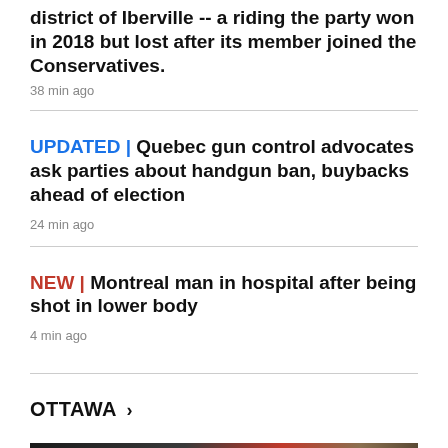district of Iberville -- a riding the party won in 2018 but lost after its member joined the Conservatives.
38 min ago
UPDATED | Quebec gun control advocates ask parties about handgun ban, buybacks ahead of election
24 min ago
NEW | Montreal man in hospital after being shot in lower body
4 min ago
OTTAWA >
[Figure (photo): Partial photo strip showing a person with red and dark background elements]